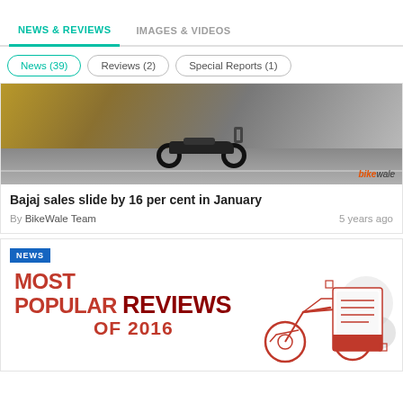NEWS & REVIEWS | IMAGES & VIDEOS
News (39)
Reviews (2)
Special Reports (1)
[Figure (photo): Motorcycle on road with bikewale watermark]
Bajaj sales slide by 16 per cent in January
By BikeWale Team   5 years ago
[Figure (illustration): Most Popular Reviews of 2016 graphic with motorcycle illustration and NEWS tag]